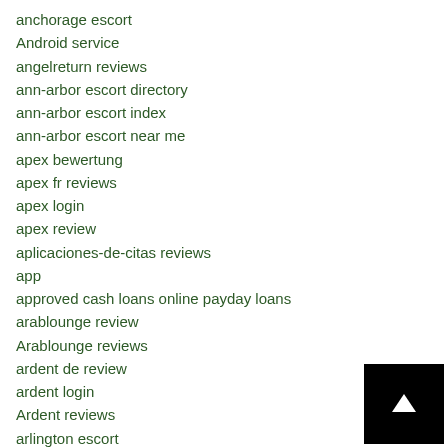anchorage escort
Android service
angelreturn reviews
ann-arbor escort directory
ann-arbor escort index
ann-arbor escort near me
apex bewertung
apex fr reviews
apex login
apex review
aplicaciones-de-citas reviews
app
approved cash loans online payday loans
arablounge review
Arablounge reviews
ardent de review
ardent login
Ardent reviews
arlington escort